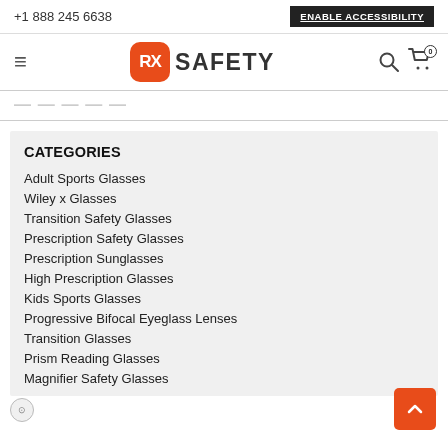+1 888 245 6638 | ENABLE ACCESSIBILITY
[Figure (logo): RX Safety logo with orange rounded rectangle icon and SAFETY text]
CATEGORIES
Adult Sports Glasses
Wiley x Glasses
Transition Safety Glasses
Prescription Safety Glasses
Prescription Sunglasses
High Prescription Glasses
Kids Sports Glasses
Progressive Bifocal Eyeglass Lenses
Transition Glasses
Prism Reading Glasses
Magnifier Safety Glasses